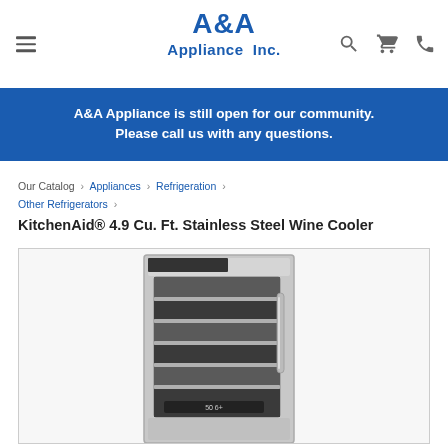A&A Appliance Inc.
A&A Appliance is still open for our community. Please call us with any questions.
Our Catalog › Appliances › Refrigeration › Other Refrigerators ›
KitchenAid® 4.9 Cu. Ft. Stainless Steel Wine Cooler
[Figure (photo): KitchenAid stainless steel wine cooler with glass door showing wine shelves and a digital display panel at the bottom]